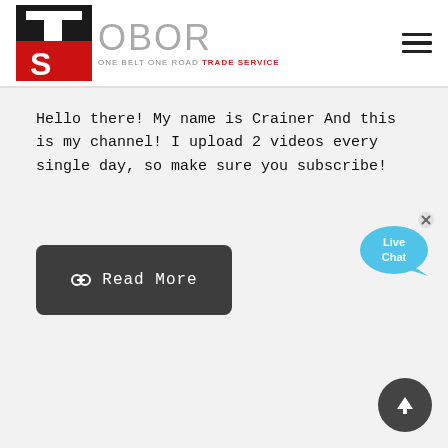[Figure (logo): OBOR Trade Service logo with TS icon on left and text 'OBOR ONE BELT ONE ROAD TRADE SERVICE' on right]
Hello there! My name is Crainer And this is my channel! I upload 2 videos every single day, so make sure you subscribe!
[Figure (other): Dark rounded rectangle button with link icon and text 'Read More']
[Figure (other): Live Chat bubble widget in blue with close X button]